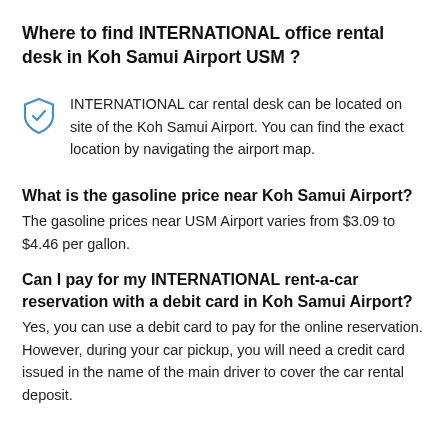Where to find INTERNATIONAL office rental desk in Koh Samui Airport USM ?
INTERNATIONAL car rental desk can be located on site of the Koh Samui Airport. You can find the exact location by navigating the airport map.
What is the gasoline price near Koh Samui Airport?
The gasoline prices near USM Airport varies from $3.09 to $4.46 per gallon.
Can I pay for my INTERNATIONAL rent-a-car reservation with a debit card in Koh Samui Airport?
Yes, you can use a debit card to pay for the online reservation. However, during your car pickup, you will need a credit card issued in the name of the main driver to cover the car rental deposit.